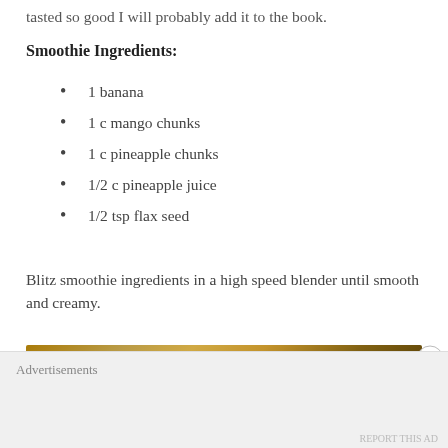tasted so good I will probably add it to the book.
Smoothie Ingredients:
1 banana
1 c mango chunks
1 c pineapple chunks
1/2 c pineapple juice
1/2 tsp flax seed
Blitz smoothie ingredients in a high speed blender until smooth and creamy.
[Figure (photo): Close-up photo of fruit chunks including pineapple and mango pieces in warm golden tones]
Advertisements